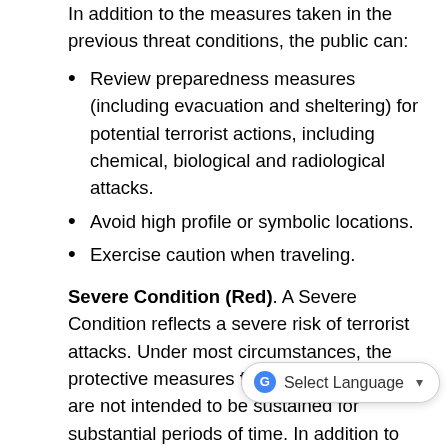In addition to the measures taken in the previous threat conditions, the public can:
Review preparedness measures (including evacuation and sheltering) for potential terrorist actions, including chemical, biological and radiological attacks.
Avoid high profile or symbolic locations.
Exercise caution when traveling.
Severe Condition (Red). A Severe Condition reflects a severe risk of terrorist attacks. Under most circumstances, the protective measures for a Severe Condition are not intended to be sustained for substantial periods of time. In addition to the protective measures in the previous threat conditions, the public can:
Avoid public gathering places such as sports arenas, holiday gatherings, or other high-risk